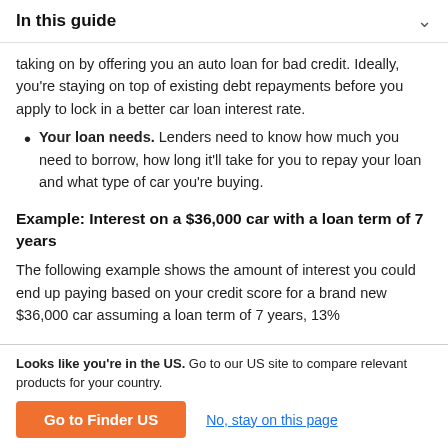In this guide
taking on by offering you an auto loan for bad credit. Ideally, you're staying on top of existing debt repayments before you apply to lock in a better car loan interest rate.
Your loan needs. Lenders need to know how much you need to borrow, how long it'll take for you to repay your loan and what type of car you're buying.
Example: Interest on a $36,000 car with a loan term of 7 years
The following example shows the amount of interest you could end up paying based on your credit score for a brand new $36,000 car assuming a loan term of 7 years, 13%
Looks like you're in the US. Go to our US site to compare relevant products for your country.